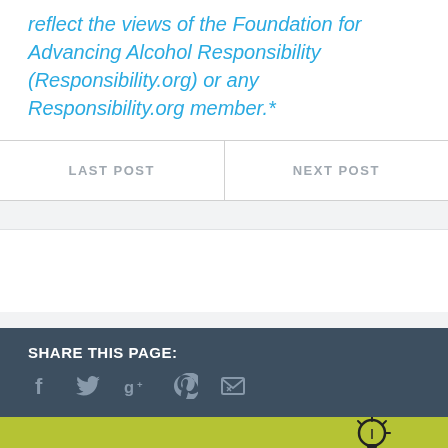reflect the views of the Foundation for Advancing Alcohol Responsibility (Responsibility.org) or any Responsibility.org member.*
LAST POST | NEXT POST
SHARE THIS PAGE:
[Figure (infographic): Social sharing icons: Facebook (f), Twitter (bird), Google+ (g+), Pinterest (p), Email (envelope)]
[Figure (logo): Ask Listen Learn logo on green/lime background showing three circular buttons labeled 'ask', 'listen', 'learn' with lightbulb graphic]